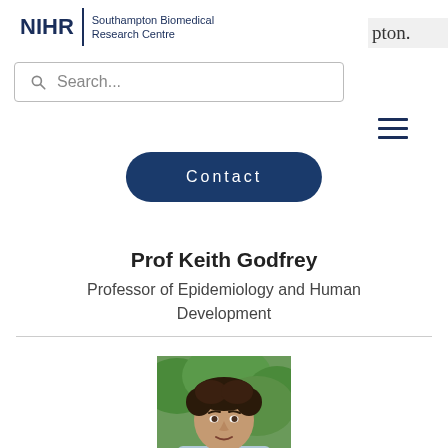[Figure (logo): NIHR Southampton Biomedical Research Centre logo with bold NIHR text, vertical divider, and subtitle text]
pton.
[Figure (screenshot): Search bar with magnifying glass icon and placeholder text 'Search...']
[Figure (infographic): Hamburger menu icon with three horizontal lines]
[Figure (other): Contact button — dark navy rounded pill button with text 'Contact']
Prof Keith Godfrey
Professor of Epidemiology and Human Development
[Figure (photo): Photo of Prof Keith Godfrey — a man with dark curly hair wearing a light blue shirt, photographed outdoors with green foliage in background]